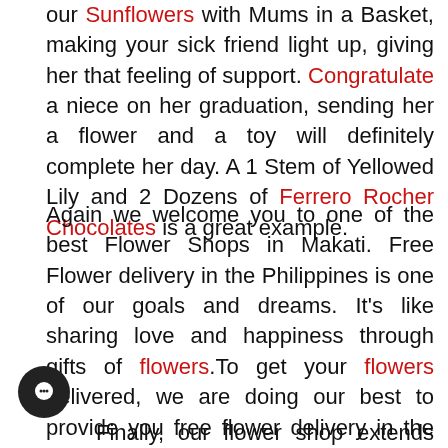our Sunflowers with Mums in a Basket, making your sick friend light up, giving her that feeling of support. Congratulate a niece on her graduation, sending her a flower and a toy will definitely complete her day. A 1 Stem of Yellowed Lily and 2 Dozens of Ferrero Rocher Chocolates is a great example.

Again we welcome you to one of the best Flower Shops in Makati. Free Flower delivery in the Philippines is one of our goals and dreams. It's like sharing love and happiness through gifts of flowers.To get your flowers delivered, we are doing our best to provide you free flower delivery in the Philippines.So send your flowers now, to that very special person, for free, and if it's out of our route we promise a very small transport fee.

Finally, our flower shop extends flower delivery in